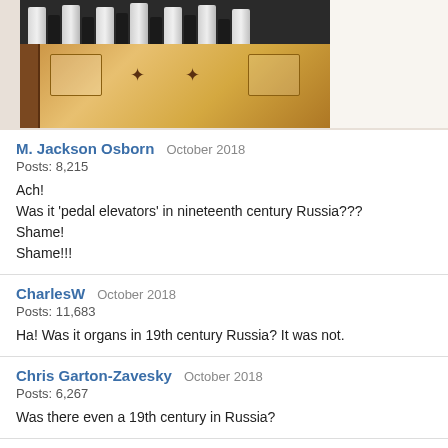[Figure (photo): Wooden organ pipe case or harmonica holder with metal pipes visible at top, wooden box with decorative elements]
M. Jackson Osborn   October 2018
Posts: 8,215

Ach!
Was it 'pedal elevators' in nineteenth century Russia???
Shame!
Shame!!!
CharlesW   October 2018
Posts: 11,683

Ha! Was it organs in 19th century Russia? It was not.
Chris Garton-Zavesky   October 2018
Posts: 6,267

Was there even a 19th century in Russia?